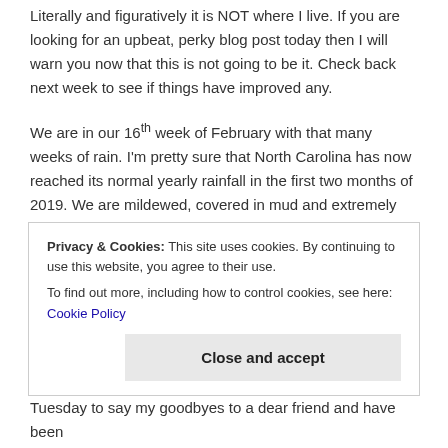Literally and figuratively it is NOT where I live. If you are looking for an upbeat, perky blog post today then I will warn you now that this is not going to be it. Check back next week to see if things have improved any.
We are in our 16th week of February with that many weeks of rain. I'm pretty sure that North Carolina has now reached its normal yearly rainfall in the first two months of 2019. We are mildewed, covered in mud and extremely cranky around here. The horses are starting to refuse to leave the barn. One of my dogs has decided he will not need to poop until about June. The chickens are beginning to acquire webbed feet. We briefly saw the sun one day this week and everyone ran outside to soak up a few minutes of vitamin D...
Privacy & Cookies: This site uses cookies. By continuing to use this website, you agree to their use. To find out more, including how to control cookies, see here: Cookie Policy
Tuesday to say my goodbyes to a dear friend and have been